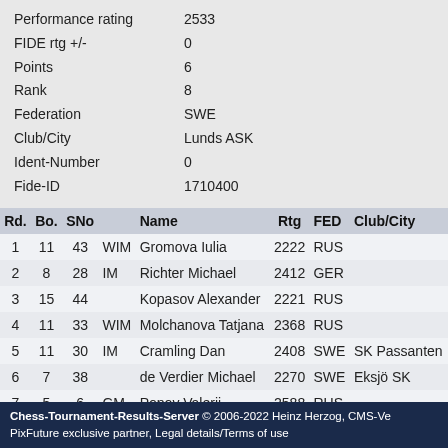Performance rating   2533
FIDE rtg +/-   0
Points   6
Rank   8
Federation   SWE
Club/City   Lunds ASK
Ident-Number   0
Fide-ID   1710400
| Rd. | Bo. | SNo |  | Name | Rtg | FED | Club/City |
| --- | --- | --- | --- | --- | --- | --- | --- |
| 1 | 11 | 43 | WIM | Gromova Iulia | 2222 | RUS |  |
| 2 | 8 | 28 | IM | Richter Michael | 2412 | GER |  |
| 3 | 15 | 44 |  | Kopasov Alexander | 2221 | RUS |  |
| 4 | 11 | 33 | WIM | Molchanova Tatjana | 2368 | RUS |  |
| 5 | 11 | 30 | IM | Cramling Dan | 2408 | SWE | SK Passanten |
| 6 | 7 | 38 |  | de Verdier Michael | 2270 | SWE | Eksjö SK |
| 7 | 5 | 6 | GM | Popov Valerij | 2588 | RUS |  |
| 8 | 2 | 2 | GM | McShane Luke | 2615 | ENG |  |
| 9 | 4 | 8 | GM | Gleizerov Evgeny | 2566 | RUS |  |
Chess-Tournament-Results-Server © 2006-2022 Heinz Herzog, CMS-Ve PixFuture exclusive partner, Legal details/Terms of use